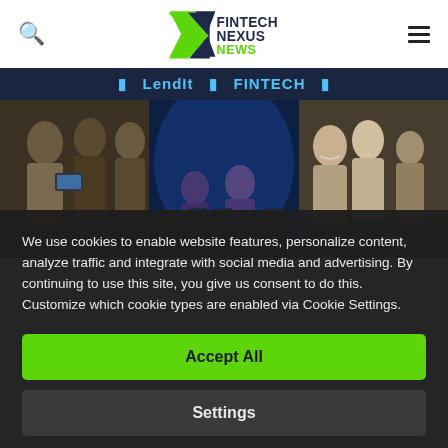[Figure (logo): Fintech Nexus News logo with green X graphic and dark text]
[Figure (photo): Three panel photo strip showing fintech conference attendees networking, panel discussion on stage with blue lighting, and group conversation]
We use cookies to enable website features, personalize content, analyze traffic and integrate with social media and advertising. By continuing to use this site, you give us consent to do this. Customize which cookie types are enabled via Cookie Settings.
Accept All
Settings